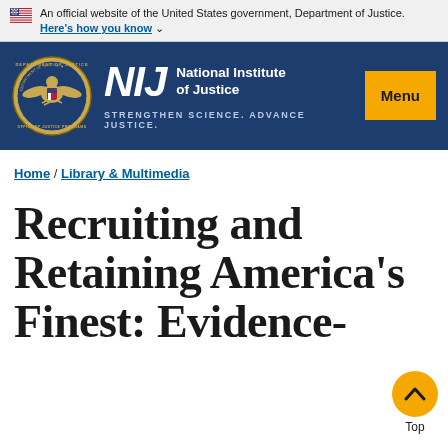An official website of the United States government, Department of Justice. Here's how you know
[Figure (logo): NIJ National Institute of Justice logo with Department of Justice seal on dark blue background. Tagline: STRENGTHEN SCIENCE. ADVANCE JUSTICE.]
Home / Library & Multimedia
Recruiting and Retaining America's Finest: Evidence-